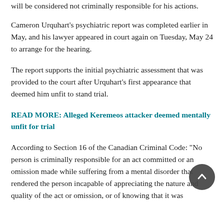will be considered not criminally responsible for his actions.
Cameron Urquhart's psychiatric report was completed earlier in May, and his lawyer appeared in court again on Tuesday, May 24 to arrange for the hearing.
The report supports the initial psychiatric assessment that was provided to the court after Urquhart's first appearance that deemed him unfit to stand trial.
READ MORE: Alleged Keremeos attacker deemed mentally unfit for trial
According to Section 16 of the Canadian Criminal Code: “No person is criminally responsible for an act committed or an omission made while suffering from a mental disorder that rendered the person incapable of appreciating the nature and quality of the act or omission, or of knowing that it was